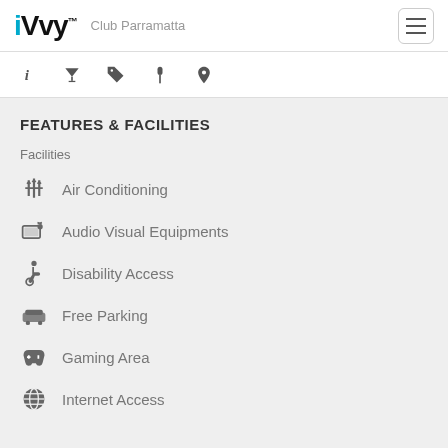iVvy  Club Parramatta
FEATURES & FACILITIES
Facilities
Air Conditioning
Audio Visual Equipments
Disability Access
Free Parking
Gaming Area
Internet Access